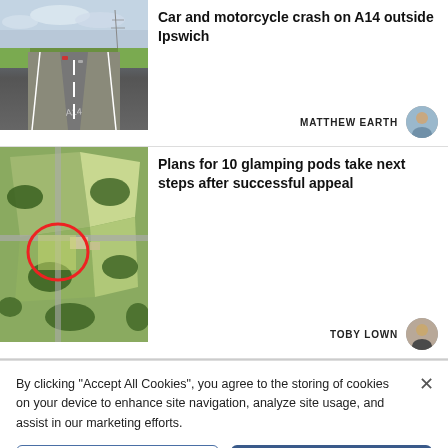[Figure (photo): Photo of A14 dual carriageway road stretching into the distance with green verges and overcast sky]
Car and motorcycle crash on A14 outside Ipswich
MATTHEW EARTH
[Figure (photo): Aerial satellite image of rural land with a red circle highlighting a field area, surrounded by trees and roads]
Plans for 10 glamping pods take next steps after successful appeal
TOBY LOWN
By clicking “Accept All Cookies”, you agree to the storing of cookies on your device to enhance site navigation, analyze site usage, and assist in our marketing efforts.
Cookies Settings
Accept All Cookies